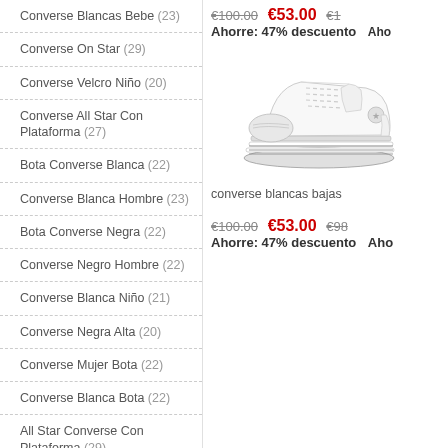Converse Blancas Bebe (23)
Converse On Star (29)
Converse Velcro Niño (20)
Converse All Star Con Plataforma (27)
Bota Converse Blanca (22)
Converse Blanca Hombre (23)
Bota Converse Negra (22)
Converse Negro Hombre (22)
Converse Blanca Niño (21)
Converse Negra Alta (20)
Converse Mujer Bota (22)
Converse Blanca Bota (22)
All Star Converse Con Plataforma (29)
Converse Bota Negro (24)
Converse Blanca Alta (28)
€100.00  €53.00  Ahorre: 47% descuento
[Figure (photo): White low-top Converse sneaker with platform sole, side view]
converse blancas bajas
€100.00  €53.00  Ahorre: 47% descuento
€98...  Aho...